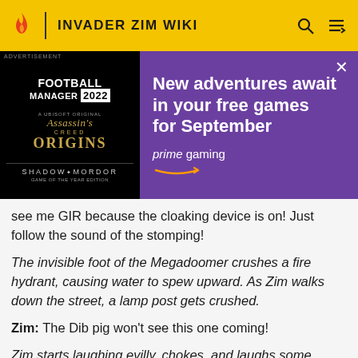INVADER ZIM WIKI
[Figure (screenshot): Amazon Prime Gaming advertisement banner showing Football Manager 2022, Assassin's Creed Origins, and Shadow of Mordor on black background left side, with purple right side text 'New adventures await in your free games for September' and Prime Gaming logo]
see me GIR because the cloaking device is on! Just follow the sound of the stomping!
The invisible foot of the Megadoomer crushes a fire hydrant, causing water to spew upward. As Zim walks down the street, a lamp post gets crushed.
Zim: The Dib pig won't see this one coming!
Zim starts laughing evilly, chokes, and laughs some more.